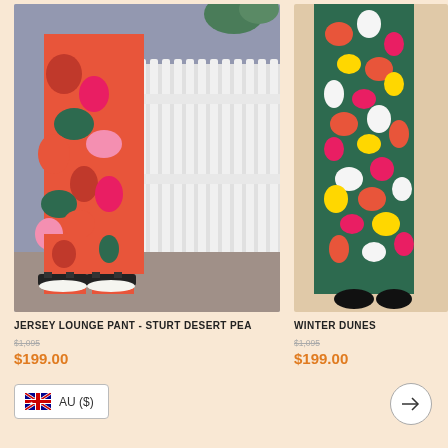[Figure (photo): Product photo of Jersey Lounge Pant in Sturt Desert Pea floral print — person wearing red/pink/green floral pants with black sandals, standing in front of white picket fence]
JERSEY LOUNGE PANT - STURT DESERT PEA
$199.00
[Figure (photo): Partial product photo of Winter Dunes item — person wearing green/red/white floral dress on beige background, partially cropped]
WINTER DUNES
$199.00
AU ($)